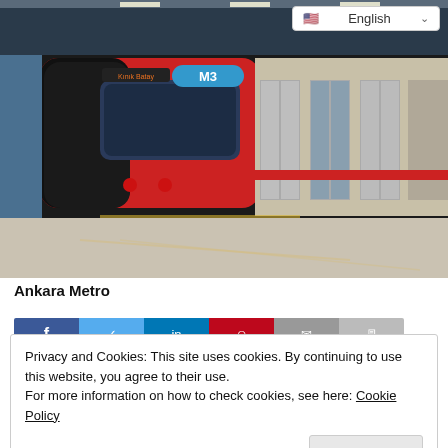[Figure (photo): A red and black Ankara Metro train (M3 line, destination Kinik Batay) stopped at a station platform with blue-grey walls and lighting overhead.]
Ankara Metro
[Figure (infographic): Social share buttons: Facebook (blue), Twitter (light blue), LinkedIn (dark blue), Pinterest (red), Email (grey), Print (grey)]
Privacy and Cookies: This site uses cookies. By continuing to use this website, you agree to their use.
For more information on how to check cookies, see here: Cookie Policy
OK